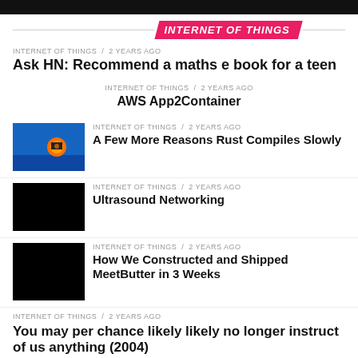INTERNET OF THINGS
INTERNET OF THINGS / 2 years ago
Ask HN: Recommend a maths e book for a teen
INTERNET OF THINGS / 2 years ago
AWS App2Container
INTERNET OF THINGS / 2 years ago
A Few More Reasons Rust Compiles Slowly
INTERNET OF THINGS / 2 years ago
Ultrasound Networking
INTERNET OF THINGS / 2 years ago
How We Constructed and Shipped MeetButter in 3 Weeks
INTERNET OF THINGS / 2 years ago
You may per chance likely likely no longer instruct of us anything (2004)